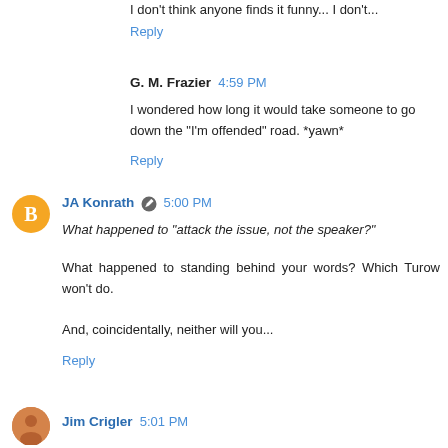I don't think anyone finds it funny... I don't...
Reply
G. M. Frazier  4:59 PM
I wondered how long it would take someone to go down the "I'm offended" road. *yawn*
Reply
JA Konrath  5:00 PM
What happened to "attack the issue, not the speaker?"
What happened to standing behind your words? Which Turow won't do.

And, coincidentally, neither will you...
Reply
Jim Crigler  5:01 PM